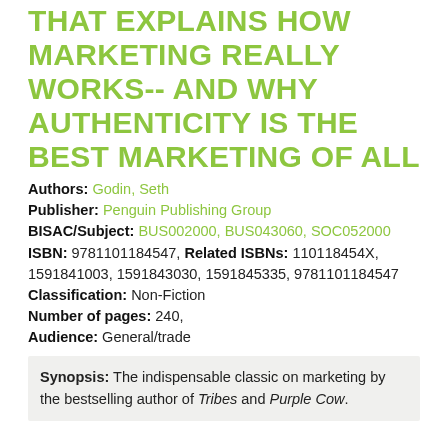THAT EXPLAINS HOW MARKETING REALLY WORKS-- AND WHY AUTHENTICITY IS THE BEST MARKETING OF ALL
Authors: Godin, Seth
Publisher: Penguin Publishing Group
BISAC/Subject: BUS002000, BUS043060, SOC052000
ISBN: 9781101184547, Related ISBNs: 110118454X, 1591841003, 1591843030, 1591845335, 9781101184547
Classification: Non-Fiction
Number of pages: 240,
Audience: General/trade
Synopsis: The indispensable classic on marketing by the bestselling author of Tribes and Purple Cow.